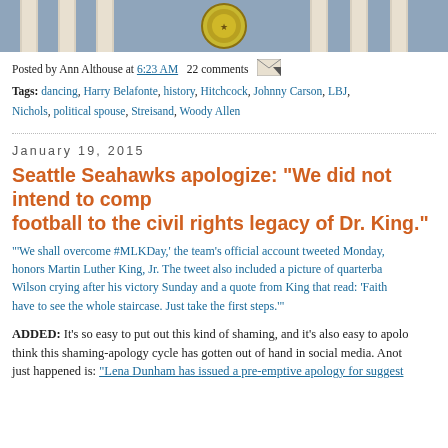[Figure (photo): Header image showing White House columns and presidential seal]
Posted by Ann Althouse at 6:23 AM  22 comments
Tags: dancing, Harry Belafonte, history, Hitchcock, Johnny Carson, LBJ, Nichols, political spouse, Streisand, Woody Allen
January 19, 2015
Seattle Seahawks apologize: "We did not intend to compare football to the civil rights legacy of Dr. King."
'We shall overcome #MLKDay,' the team's official account tweeted Monday, honors Martin Luther King, Jr. The tweet also included a picture of quarterback Wilson crying after his victory Sunday and a quote from King that read: 'Faith have to see the whole staircase. Just take the first steps.'"
ADDED: It's so easy to put out this kind of shaming, and it's also easy to apolo think this shaming-apology cycle has gotten out of hand in social media. Anot just happened is: "Lena Dunham has issued a pre-emptive apology for suggest